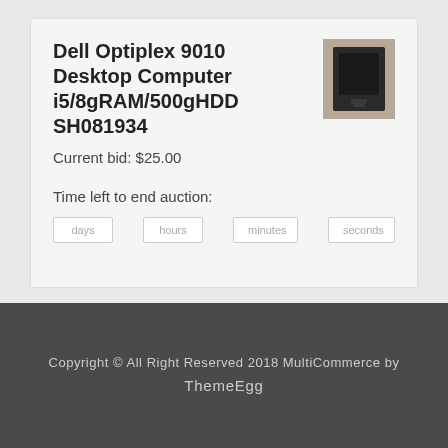Dell Optiplex 9010 Desktop Computer i5/8gRAM/500gHDD SH081934
Current bid: $25.00
Time left to end auction:
days   hours   minutes   seconds
[Figure (photo): Small thumbnail photo of a Dell Optiplex 9010 desktop computer tower, dark/black unit]
Copyright © All Right Reserved 2018 MultiCommerce by ThemeEgg